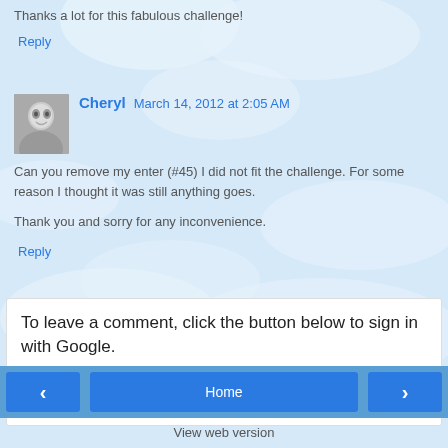Thanks a lot for this fabulous challenge!
Reply
Cheryl March 14, 2012 at 2:05 AM
Can you remove my enter (#45) I did not fit the challenge. For some reason I thought it was still anything goes.
Thank you and sorry for any inconvenience.
Reply
To leave a comment, click the button below to sign in with Google.
SIGN IN WITH GOOGLE
Home
View web version